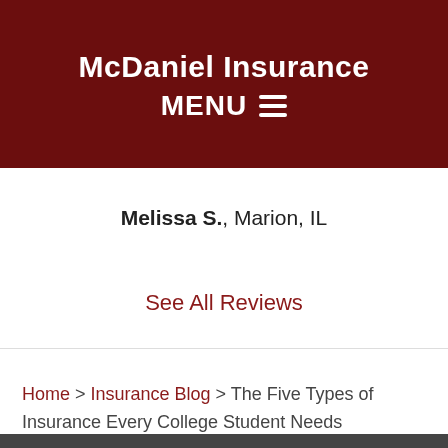McDaniel Insurance
MENU ≡
Melissa S., Marion, IL
See All Reviews
Home > Insurance Blog > The Five Types of Insurance Every College Student Needs